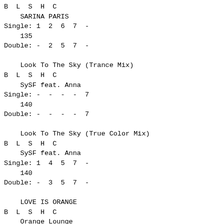B  L  S  H  C
    SARINA PARIS
Single: 1  2  6  7  -
    135
Double: -  2  5  7  -

    Look To The Sky (Trance Mix)
B  L  S  H  C
    SySF feat. Anna
Single: -  -  -  -  7
    140
Double: -  -  -  -  7

    Look To The Sky (True Color Mix)
B  L  S  H  C
    SySF feat. Anna
Single: 1  4  5  7  -
    140
Double: -  3  5  7  -

    LOVE IS ORANGE
B  L  S  H  C
    Orange Lounge
Single: 1  4  6  7  8
    180
Double: -  5  6  7  8

    Make A Difference
B  L  S  H  C
    Lala Moore with CoCoRo*Co
Single: 1  4  8  8